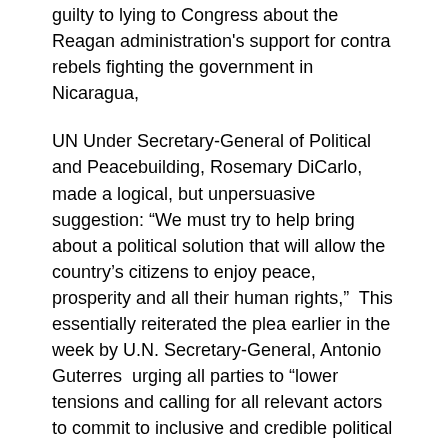guilty to lying to Congress about the Reagan administration's support for contra rebels fighting the government in Nicaragua,
UN Under Secretary-General of Political and Peacebuilding, Rosemary DiCarlo, made a logical, but unpersuasive suggestion: “We must try to help bring about a political solution that will allow the country’s citizens to enjoy peace, prosperity and all their human rights,”  This essentially reiterated the plea earlier in the week by U.N. Secretary-General, Antonio Guterres  urging all parties to “lower tensions and calling for all relevant actors to commit to inclusive and credible political dialogue. Concerned by reports of casualties in the context of demonstrations and unrest in and around the capital Caracas, the UN chief also called for a transparent and independent investigation of those incidents.